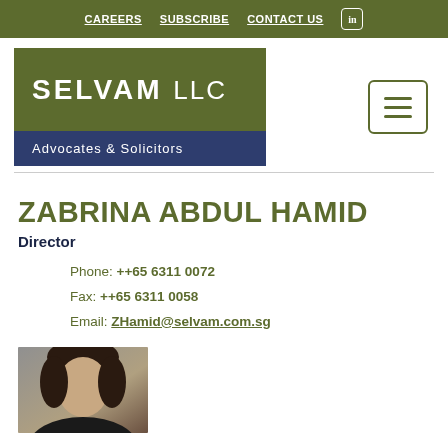CAREERS  SUBSCRIBE  CONTACT US
[Figure (logo): Selvam LLC Advocates & Solicitors logo — green background with white text]
ZABRINA ABDUL HAMID
Director
Phone: ++65 6311 0072
Fax: ++65 6311 0058
Email: ZHamid@selvam.com.sg
[Figure (photo): Headshot photo of Zabrina Abdul Hamid, partial view showing head and shoulders]